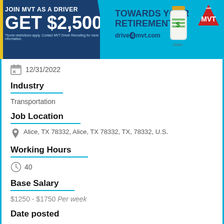[Figure (infographic): MVT driver recruitment banner ad. Dark blue left panel: 'JOIN MVT AS A DRIVER' and 'GET $2,500'. Cyan right panel: 'TOWARDS YOUR RETIREMENT'. Jar of money image, drive4mvt.com text, MVT logo.]
12/31/2022
Industry
Transportation
Job Location
Alice, TX 78332, Alice, TX 78332, TX, 78332, U.S.
Working Hours
40
Base Salary
$1250 - $1750 Per week
Date posted